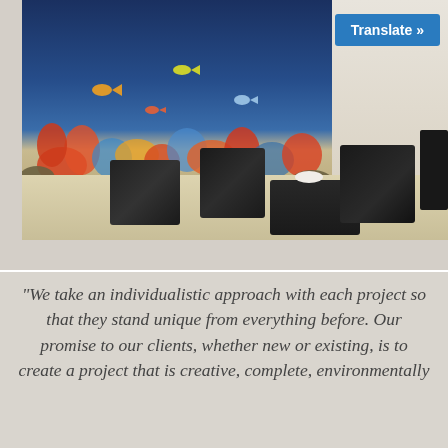[Figure (photo): Interior lobby or reception area with a large built-in aquarium featuring colorful coral and fish along the back wall, and modern black cube-shaped furniture (seats and ottomans) on a beige/cream tile floor. A 'Translate »' button is overlaid in the upper right corner.]
“We take an individualistic approach with each project so that they stand unique from everything before. Our promise to our clients, whether new or existing, is to create a project that is creative, complete, environmentally